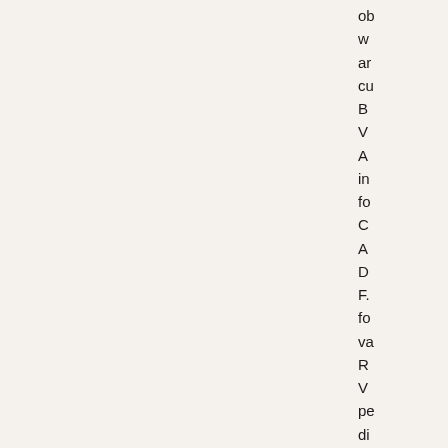ob w ar cu B V A in fo C A D F. fo va R V pe di flo 14 H K N S